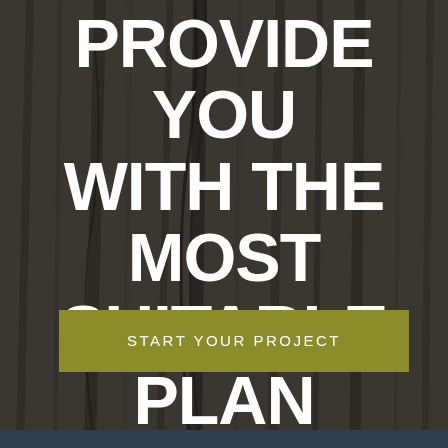[Figure (photo): Dark wood texture background with natural grain and cracks]
PROVIDE YOU WITH THE MOST SUITABLE PLAN AND PRICE
START YOUR PROJECT